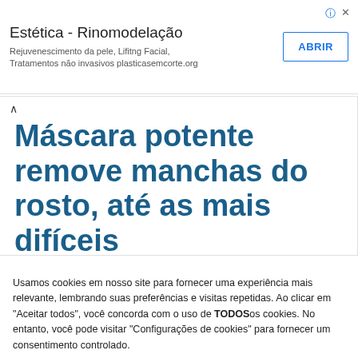[Figure (screenshot): Advertisement banner for 'Estética - Rinomodelação' with subtitle text and ABRIR button]
Máscara potente remove manchas do rosto, até as mais difíceis
Usamos cookies em nosso site para fornecer uma experiência mais relevante, lembrando suas preferências e visitas repetidas. Ao clicar em "Aceitar todos", você concorda com o uso de TODOSos cookies. No entanto, você pode visitar "Configurações de cookies" para fornecer um consentimento controlado.